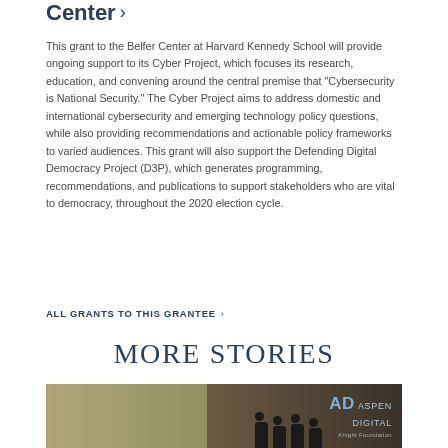Center >
This grant to the Belfer Center at Harvard Kennedy School will provide ongoing support to its Cyber Project, which focuses its research, education, and convening around the central premise that "Cybersecurity is National Security." The Cyber Project aims to address domestic and international cybersecurity and emerging technology policy questions, while also providing recommendations and actionable policy frameworks to varied audiences. This grant will also support the Defending Digital Democracy Project (D3P), which generates programming, recommendations, and publications to support stakeholders who are vital to democracy, throughout the 2020 election cycle.
ALL GRANTS TO THIS GRANTEE >
MORE STORIES
[Figure (photo): Conference room photo showing people sitting at a panel with an 'AD Aspen Digital' branded backdrop on the right side, and tall windows with curtains on the left.]